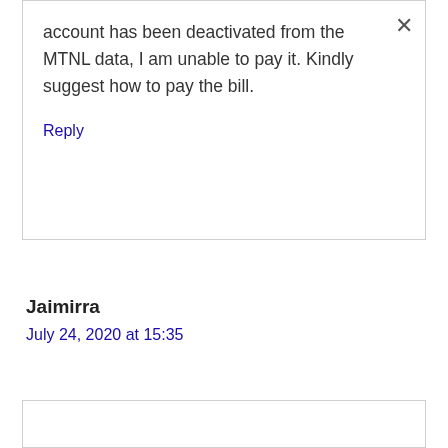account has been deactivated from the MTNL data, I am unable to pay it. Kindly suggest how to pay the bill.
Reply
Jaimirra
July 24, 2020 at 15:35